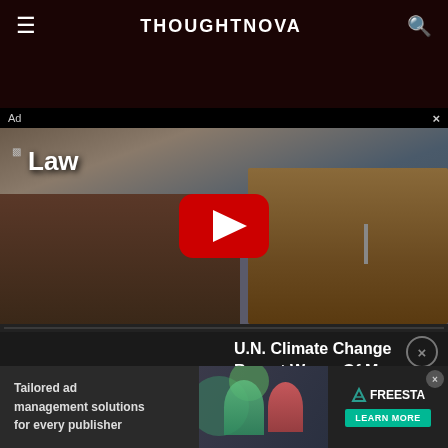THOUGHTNOVA
[Figure (screenshot): Video thumbnail showing courtroom scene with YouTube play button overlay, text 'Law' visible]
Ad ×
[Figure (screenshot): Mini video player showing Sustainable Stream logo with play button and progress bar]
U.N. Climate Change Report Warns Of Mass Animal Extinctions
[Figure (infographic): Bottom ad banner: Tailored ad management solutions for every publisher — FREESTA LEARN MORE]